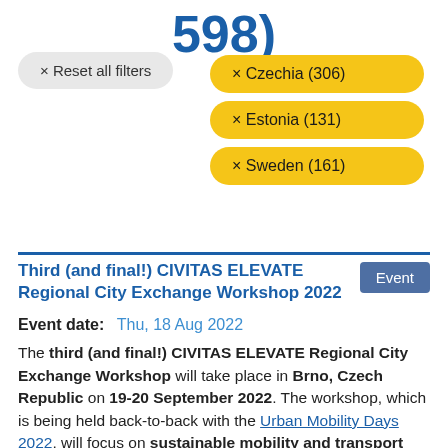598)
× Reset all filters
× Czechia (306)
× Estonia (131)
× Sweden (161)
Third (and final!) CIVITAS ELEVATE Regional City Exchange Workshop 2022
Event
Event date:   Thu, 18 Aug 2022
The third (and final!) CIVITAS ELEVATE Regional City Exchange Workshop will take place in Brno, Czech Republic on 19-20 September 2022. The workshop, which is being held back-to-back with the Urban Mobility Days 2022, will focus on sustainable mobility and transport planning